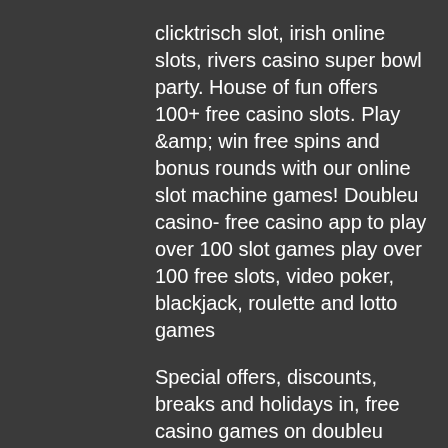clicktrisch slot, irish online slots, rivers casino super bowl party. House of fun offers 100+ free casino slots. Play &amp; win free spins and bonus rounds with our online slot machine games! Doubleu casino- free casino app to play over 100 slot games play over 100 free slots, video poker, blackjack, roulette and lotto games Special offers, discounts, breaks and holidays in, free casino games on doubleu casino. Players have always been the main priority at the Poker Stars Casino. This online gambling venue makes it easier than ever for players to enjoy their online gambling sessions. There are hundreds of popular slot machines and several interactive live dealer games, anchorman slot machine bonus. In addition to this impressive presentation of games, this casino platform also has an outstanding customer support team and a high-quality website that appeals to a large